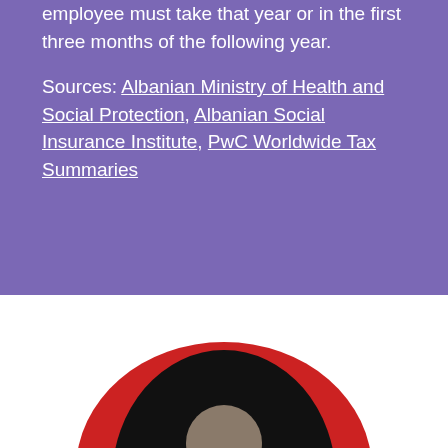employee must take that year or in the first three months of the following year.
Sources: Albanian Ministry of Health and Social Protection, Albanian Social Insurance Institute, PwC Worldwide Tax Summaries
[Figure (photo): Partial photo of a person with overlapping red and black circular shapes, cropped at bottom of page]